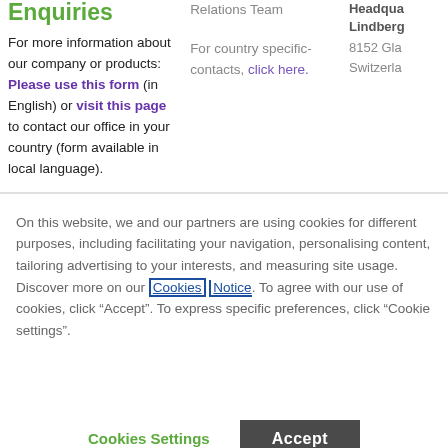Enquiries
For more information about our company or products: Please use this form (in English) or visit this page to contact our office in your country (form available in local language).
Relations Team

For country specific-contacts, click here.
Headqua...
Lindberg...
8152 Gla...
Switzerla...
On this website, we and our partners are using cookies for different purposes, including facilitating your navigation, personalising content, tailoring advertising to your interests, and measuring site usage. Discover more on our Cookies Notice. To agree with our use of cookies, click "Accept". To express specific preferences, click "Cookie settings".
Cookies Settings
Accept